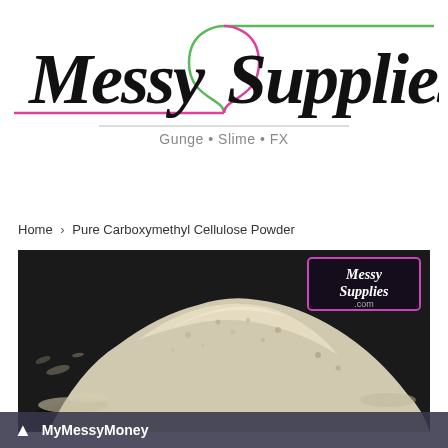[Figure (logo): Messy Supplies logo with stylized text and pink/green decorative lines, tagline: Gunge • Slime • FX]
Home › Pure Carboxymethyl Cellulose Powder
[Figure (photo): Close-up photo of a pile of white/cream powder (Pure Carboxymethyl Cellulose Powder) on a dark background, with a Messy Supplies .com watermark in the top right corner]
MyMessyMoney